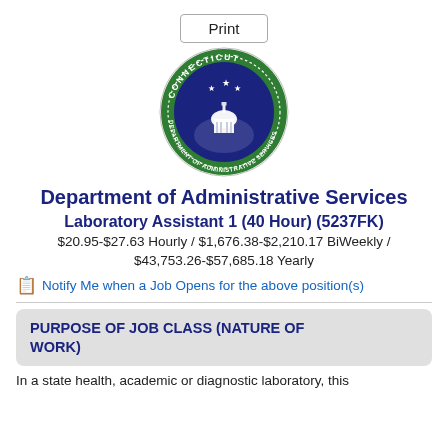Print
[Figure (logo): Connecticut Department of Administrative Services circular seal with navy blue center showing a capitol dome and stars, surrounded by green ring with text 'CONNECTICUT' and 'DEPARTMENT OF ADMINISTRATIVE SERVICES']
Department of Administrative Services
Laboratory Assistant 1 (40 Hour) (5237FK)
$20.95-$27.63 Hourly / $1,676.38-$2,210.17 BiWeekly / $43,753.26-$57,685.18 Yearly
Notify Me when a Job Opens for the above position(s)
PURPOSE OF JOB CLASS (NATURE OF WORK)
In a state health, academic or diagnostic laboratory, this